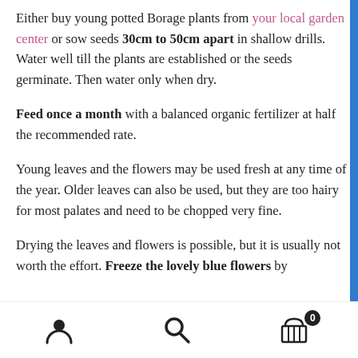Either buy young potted Borage plants from your local garden center or sow seeds 30cm to 50cm apart in shallow drills. Water well till the plants are established or the seeds germinate. Then water only when dry.
Feed once a month with a balanced organic fertilizer at half the recommended rate.
Young leaves and the flowers may be used fresh at any time of the year. Older leaves can also be used, but they are too hairy for most palates and need to be chopped very fine.
Drying the leaves and flowers is possible, but it is usually not worth the effort. Freeze the lovely blue flowers by
User icon, Search icon, Cart icon with badge 0